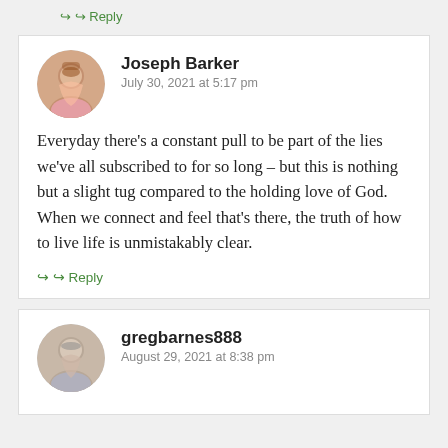↪ Reply
Joseph Barker
July 30, 2021 at 5:17 pm
Everyday there’s a constant pull to be part of the lies we’ve all subscribed to for so long – but this is nothing but a slight tug compared to the holding love of God. When we connect and feel that’s there, the truth of how to live life is unmistakably clear.
↪ Reply
gregbarnes888
August 29, 2021 at 8:38 pm